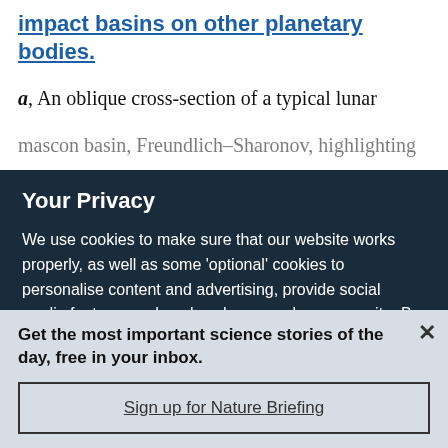impact basins on other planetary bodies.
a, An oblique cross-section of a typical lunar mascon basin, Freundlich–Sharonov, highlighting
Your Privacy
We use cookies to make sure that our website works properly, as well as some 'optional' cookies to personalise content and advertising, provide social media features and analyse how people use our site. By accepting some or all optional cookies you give consent to the processing of your personal data, including transfer to third parties, some in countries outside of the European Economic Area that do not offer the same data protection standards as the country where you live. You can decide which optional cookies to accept by clicking on 'Manage Settings', where you can
Get the most important science stories of the day, free in your inbox.
Sign up for Nature Briefing